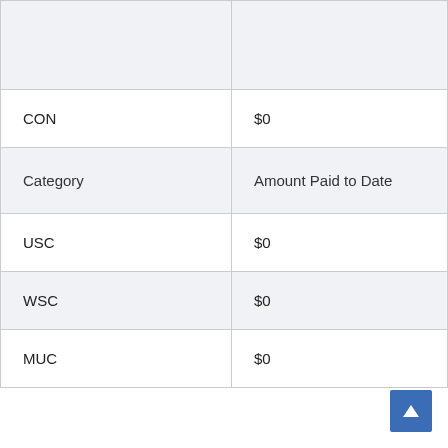| Category | Amount Paid to Date |
| --- | --- |
| CON | $0 |
| Category | Amount Paid to Date |
| USC | $0 |
| WSC | $0 |
| MUC | $0 |